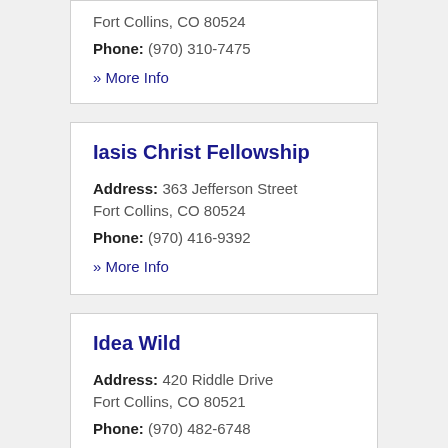Fort Collins, CO 80524
Phone: (970) 310-7475
» More Info
Iasis Christ Fellowship
Address: 363 Jefferson Street Fort Collins, CO 80524
Phone: (970) 416-9392
» More Info
Idea Wild
Address: 420 Riddle Drive Fort Collins, CO 80521
Phone: (970) 482-6748